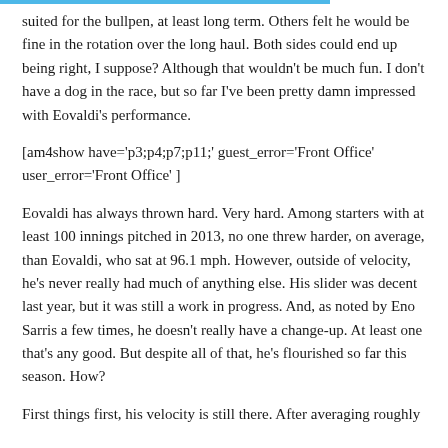suited for the bullpen, at least long term. Others felt he would be fine in the rotation over the long haul. Both sides could end up being right, I suppose? Although that wouldn't be much fun. I don't have a dog in the race, but so far I've been pretty damn impressed with Eovaldi's performance.
[am4show have='p3;p4;p7;p11;' guest_error='Front Office' user_error='Front Office' ]
Eovaldi has always thrown hard. Very hard. Among starters with at least 100 innings pitched in 2013, no one threw harder, on average, than Eovaldi, who sat at 96.1 mph. However, outside of velocity, he's never really had much of anything else. His slider was decent last year, but it was still a work in progress. And, as noted by Eno Sarris a few times, he doesn't really have a change-up. At least one that's any good. But despite all of that, he's flourished so far this season. How?
First things first, his velocity is still there. After averaging roughly